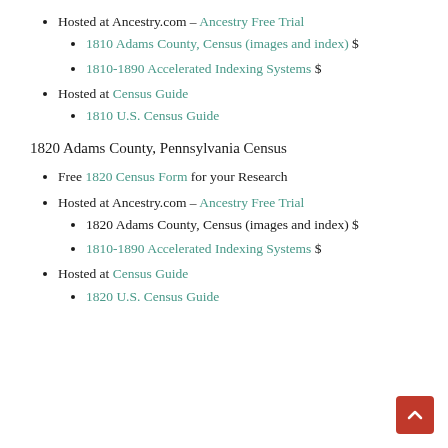Hosted at Ancestry.com – Ancestry Free Trial
1810 Adams County, Census (images and index) $
1810-1890 Accelerated Indexing Systems $
Hosted at Census Guide
1810 U.S. Census Guide
1820 Adams County, Pennsylvania Census
Free 1820 Census Form for your Research
Hosted at Ancestry.com – Ancestry Free Trial
1820 Adams County, Census (images and index) $
1810-1890 Accelerated Indexing Systems $
Hosted at Census Guide
1820 U.S. Census Guide